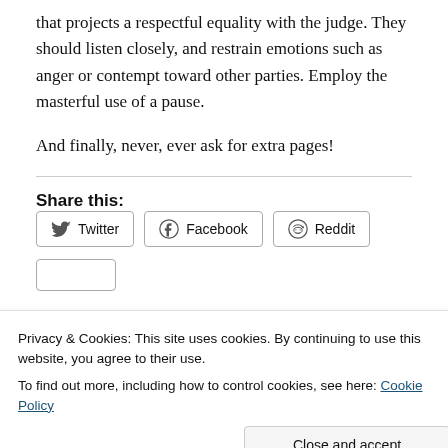that projects a respectful equality with the judge. They should listen closely, and restrain emotions such as anger or contempt toward other parties. Employ the masterful use of a pause.
And finally, never, ever ask for extra pages!
Share this:
[Figure (other): Social share buttons: Twitter, Facebook, Reddit]
Privacy & Cookies: This site uses cookies. By continuing to use this website, you agree to their use.
To find out more, including how to control cookies, see here: Cookie Policy
Close and accept